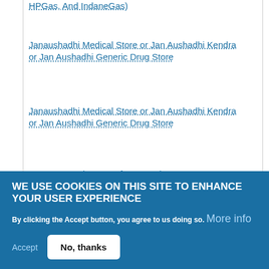HPGas, And IndaneGas)
Janaushadhi Medical Store or Jan Aushadhi Kendra or Jan Aushadhi Generic Drug Store
Janaushadhi Medical Store or Jan Aushadhi Kendra or Jan Aushadhi Generic Drug Store
LPG Connection Transfer Procedures
List Of Socially And Educationally Backward
WE USE COOKIES ON THIS SITE TO ENHANCE YOUR USER EXPERIENCE
By clicking the Accept button, you agree to us doing so. More info
Accept
No, thanks